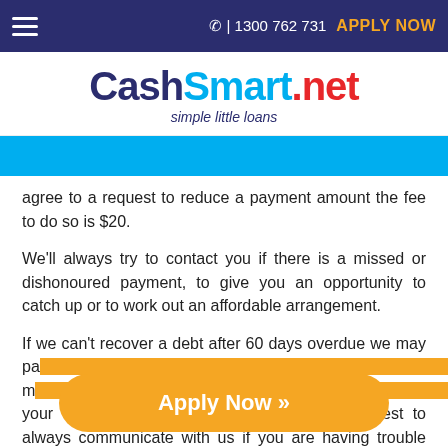☎ | 1300 762 731   APPLY NOW
[Figure (logo): CashSmart.net logo with tagline 'simple little loans']
agree to a request to reduce a payment amount the fee to do so is $20.
We'll always try to contact you if there is a missed or dishonoured payment, to give you an opportunity to catch up or to work out an affordable arrangement.
If we can't recover a debt after 60 days overdue we may pass ... you m... ...pacts your credit history for up to 5 years. So it's best to always communicate with us if you are having trouble repaying so
[Figure (other): Apply Now button — orange rounded rectangle with text 'Apply Now »']